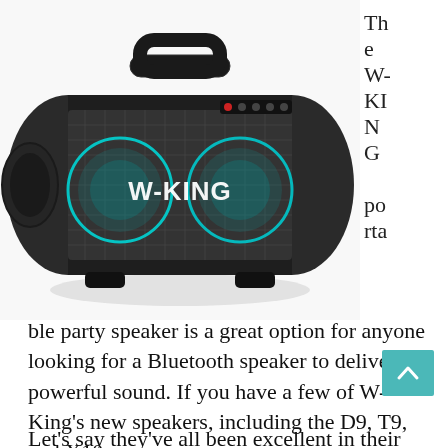[Figure (photo): W-KING portable Bluetooth boombox speaker with glowing W-KING logo and LED lighting, cylindrical shape with handle on top and side-firing speakers]
The W-KING portable party speaker is a great option for anyone looking for a Bluetooth speaker to deliver powerful sound. If you have a few of W-King's new speakers, including the D9, T9, and X10.
Let's say they've all been excellent in their